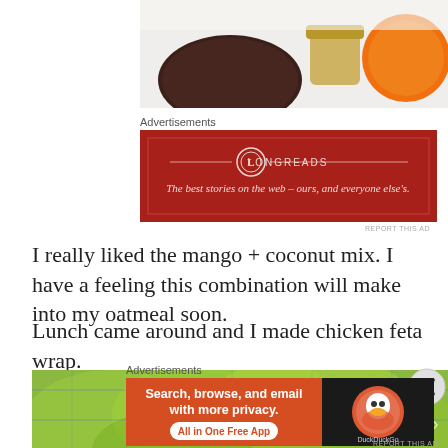[Figure (photo): Food photo showing a dark chocolate cookie/brownie, a small jar, and an orange on a white surface]
Advertisements
[Figure (screenshot): Longreads advertisement banner: red background with Longreads logo and text 'The best stories on the web – ours, and everyone else's.']
I really liked the mango + coconut mix. I have a feeling this combination will make into my oatmeal soon.
Lunch came around and I made chicken feta wrap.
[Figure (photo): Close-up photo of a chicken feta wrap with green lettuce visible]
Advertisements
[Figure (screenshot): DuckDuckGo advertisement: orange/black background with text 'Search, browse, and email with more privacy. All in One Free App' and DuckDuckGo logo]